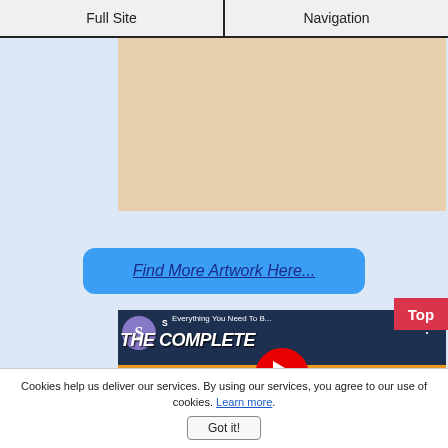Full Site | Navigation
[Figure (photo): Two framed artwork paintings side by side on a surface – left painting shows abstract pink/purple forms, right painting shows green leaf-like forms.]
Find More Artwork Here...
[Figure (screenshot): YouTube video thumbnail showing 'Everything You Need To B...' with large text 'THE COMPLETE ONLINE BUSINESS BUILDER THAT TAKES YOU FROM...' – has a red YouTube play button in the center.]
Cookies help us deliver our services. By using our services, you agree to our use of cookies. Learn more.
Got it!